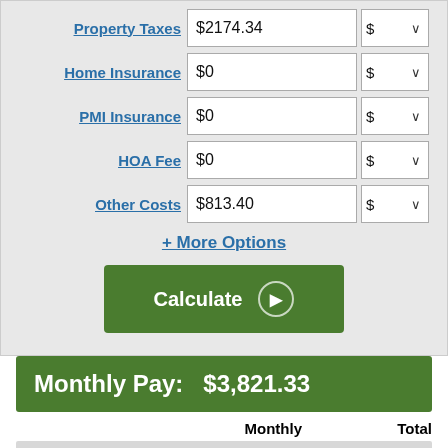Property Taxes $2174.34 $ ∨
Home Insurance $0 $ ∨
PMI Insurance $0 $ ∨
HOA Fee $0 $ ∨
Other Costs $813.40 $ ∨
+ More Options
Calculate ▶
Monthly Pay:  $3,821.33
|  | Monthly | Total |
| --- | --- | --- |
| Mortgage Payment | $3,821.33 | $1,146,399.75 |
| Property Tax | $181.20 | $54,358.50 |
| Other Costs | $67.78 | $20,335.80 |